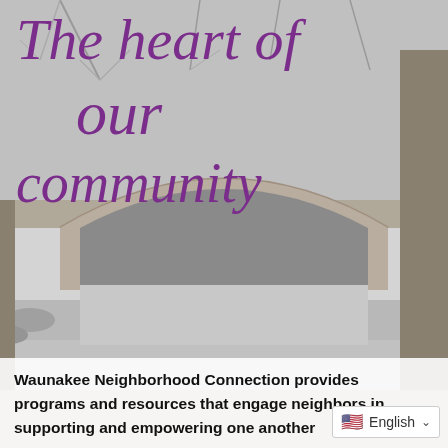[Figure (photo): Black and white photo of a stone arch bridge over a river, with bare trees in the background]
The heart of our community
Waunakee Neighborhood Connection provides programs and resources that engage neighbors in supporting and empowering one another